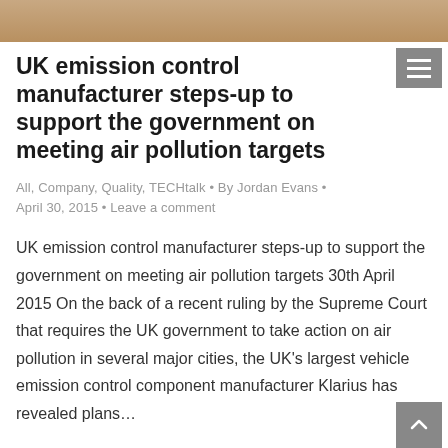[Figure (photo): Partial top image of a vehicle or automotive component, cropped at the top of the page]
UK emission control manufacturer steps-up to support the government on meeting air pollution targets
All, Company, Quality, TECHtalk • By Jordan Evans • April 30, 2015 • Leave a comment
UK emission control manufacturer steps-up to support the government on meeting air pollution targets 30th April 2015 On the back of a recent ruling by the Supreme Court that requires the UK government to take action on air pollution in several major cities, the UK's largest vehicle emission control component manufacturer Klarius has revealed plans...